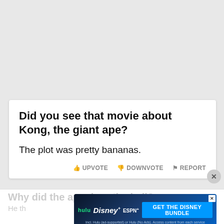Did you see that movie about Kong, the giant ape?
The plot was pretty bananas.
[Figure (screenshot): Disney Bundle advertisement banner showing Hulu, Disney+, and ESPN+ logos with 'GET THE DISNEY BUNDLE' call-to-action button]
Why did the ape drop the ball?
He th...